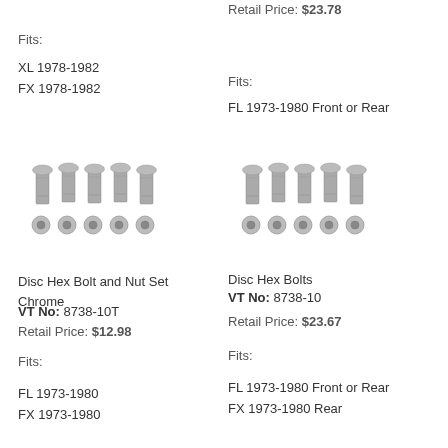Retail Price: $23.78
Fits:
Fits:
XL 1978-1982
FX 1978-1982
FL 1973-1980 Front or Rear
[Figure (photo): Five chrome hex bolts and five nuts arranged in two rows]
[Figure (photo): Five chrome hex bolts and five nuts arranged in two rows]
Disc Hex Bolt and Nut Set Chrome
Disc Hex Bolts
VT No: 8738-10T
VT No: 8738-10
Retail Price: $12.98
Retail Price: $23.67
Fits:
Fits:
FL 1973-1980
FX 1973-1980
FL 1973-1980 Front or Rear
FX 1973-1980 Rear